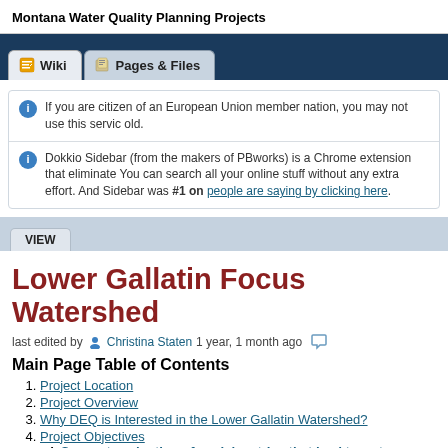Montana Water Quality Planning Projects
If you are citizen of an European Union member nation, you may not use this service old.
Dokkio Sidebar (from the makers of PBworks) is a Chrome extension that eliminates You can search all your online stuff without any extra effort. And Sidebar was #1 on people are saying by clicking here.
Lower Gallatin Focus Watershed
last edited by Christina Staten 1 year, 1 month ago
Main Page Table of Contents
Project Location
Project Overview
Why DEQ is Interested in the Lower Gallatin Watershed?
Project Objectives
Support evaluation of social metrics that lead to water qua